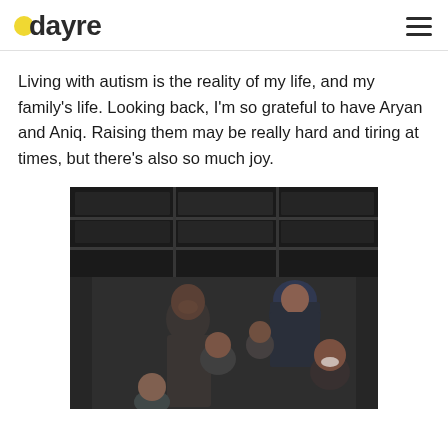dayre
Living with autism is the reality of my life, and my family's life. Looking back, I'm so grateful to have Aryan and Aniq. Raising them may be really hard and tiring at times, but there's also so much joy.
[Figure (photo): Family photo of a man, woman in hijab, and three children posing together in front of a dark storefront with decorative string lights]